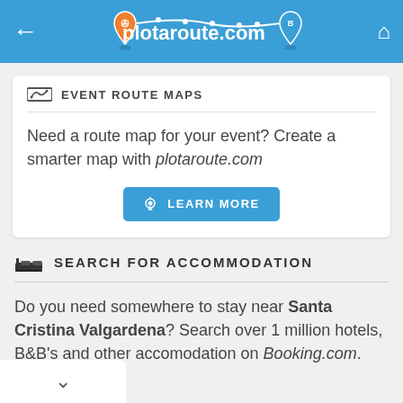plotaroute.com
EVENT ROUTE MAPS
Need a route map for your event? Create a smarter map with plotaroute.com
LEARN MORE
SEARCH FOR ACCOMMODATION
Do you need somewhere to stay near Santa Cristina Valgardena? Search over 1 million hotels, B&B's and other accomodation on Booking.com.